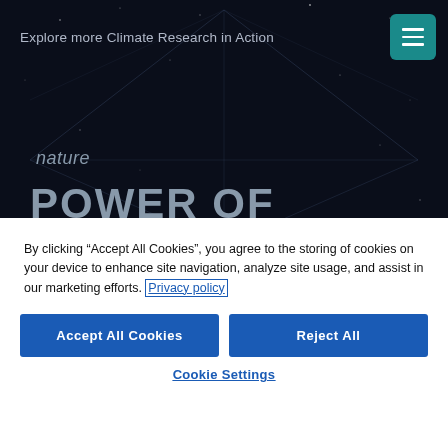Explore more Climate Research in Action
nature
POWER OF
By clicking “Accept All Cookies”, you agree to the storing of cookies on your device to enhance site navigation, analyze site usage, and assist in our marketing efforts. Privacy policy
Accept All Cookies
Reject All
Cookie Settings